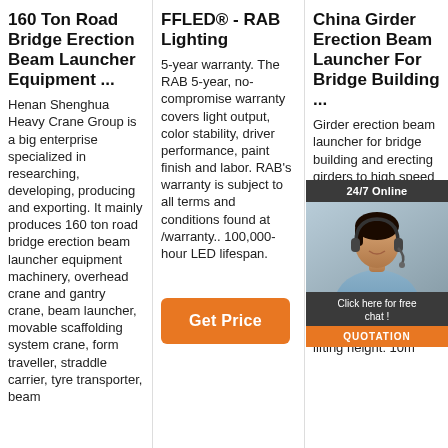160 Ton Road Bridge Erection Beam Launcher Equipment ...
Henan Shenghua Heavy Crane Group is a big enterprise specialized in researching, developing, producing and exporting. It mainly produces 160 ton road bridge erection beam launcher equipment machinery, overhead crane and gantry crane, beam launcher, movable scaffolding system crane, form traveller, straddle carrier, tyre transporter, beam
FFLED® - RAB Lighting
5-year warranty. The RAB 5-year, no-compromise warranty covers light output, color stability, driver performance, paint finish and labor. RAB's warranty is subject to all terms and conditions found at /warranty.. 100,000-hour LED lifespan.
Get Price
China Girder Erection Beam Launcher For Bridge Building ...
Girder erection beam launcher for bridge building and erecting girders to high speed (250-350km) CRH railway machine for equal span girders or different span girders which can be 20m, 24m and 32m, 50m. General parameters : Load capacity t. Span: 20-50m. Max. lifting height: 10m
[Figure (photo): Customer service representative with headset, chat widget overlay showing '24/7 Online', 'Click here for free chat!', and an orange 'QUOTATION' button.]